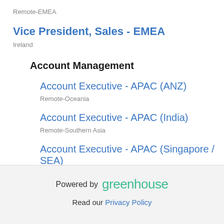Remote-EMEA
Vice President, Sales - EMEA
Ireland
Account Management
Account Executive - APAC (ANZ)
Remote-Oceania
Account Executive - APAC (India)
Remote-Southern Asia
Account Executive - APAC (Singapore / SEA)
Remote-Southeast Asia
Powered by greenhouse
Read our Privacy Policy